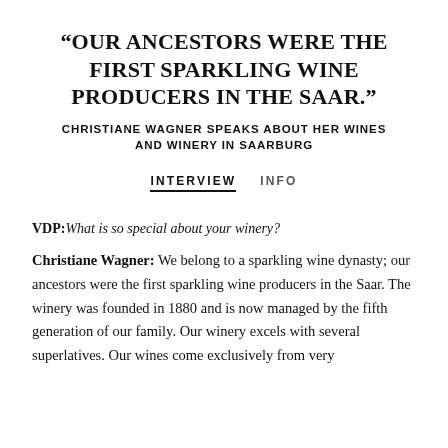“OUR ANCESTORS WERE THE FIRST SPARKLING WINE PRODUCERS IN THE SAAR.”
CHRISTIANE WAGNER SPEAKS ABOUT HER WINES AND WINERY IN SAARBURG
INTERVIEW   INFO
VDP: What is so special about your winery?
Christiane Wagner: We belong to a sparkling wine dynasty; our ancestors were the first sparkling wine producers in the Saar. The winery was founded in 1880 and is now managed by the fifth generation of our family. Our winery excels with several superlatives. Our wines come exclusively from very